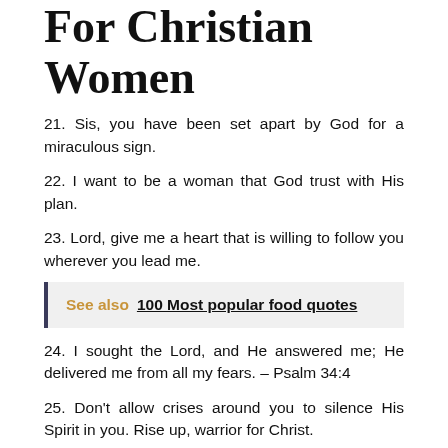Life Changing Quotes For Christian Women
21. Sis, you have been set apart by God for a miraculous sign.
22. I want to be a woman that God trust with His plan.
23. Lord, give me a heart that is willing to follow you wherever you lead me.
See also  100 Most popular food quotes
24. I sought the Lord, and He answered me; He delivered me from all my fears. – Psalm 34:4
25. Don't allow crises around you to silence His Spirit in you. Rise up, warrior for Christ.
26. Sis, you are coming out of this wilderness stronger